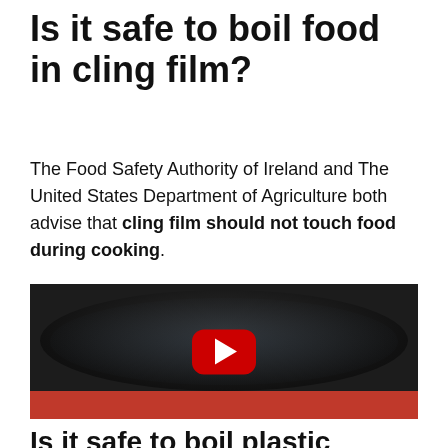Is it safe to boil food in cling film?
The Food Safety Authority of Ireland and The United States Department of Agriculture both advise that cling film should not touch food during cooking.
[Figure (screenshot): YouTube video thumbnail showing an egg wrapped in cling film poaching in a red pan filled with water, with a YouTube play button overlay.]
Is it safe to boil plastic